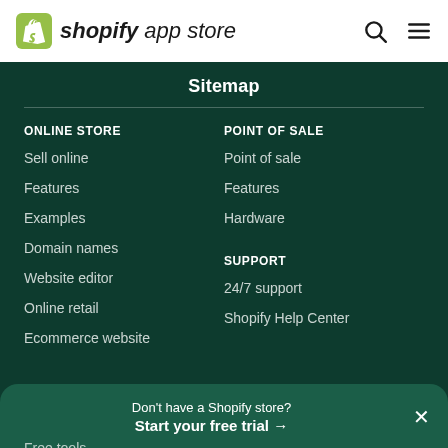shopify app store
Sitemap
ONLINE STORE
Sell online
Features
Examples
Domain names
Website editor
Online retail
Ecommerce website
POINT OF SALE
Point of sale
Features
Hardware
SUPPORT
24/7 support
Shopify Help Center
Don't have a Shopify store? Start your free trial →